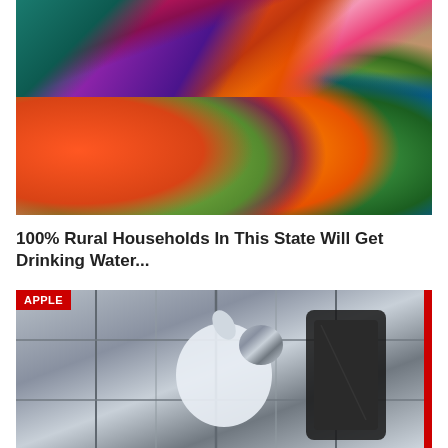[Figure (photo): Women collecting water in colorful plastic jugs/containers of various colors including red, green, yellow, orange, pink, and blue]
100% Rural Households In This State Will Get Drinking Water...
[Figure (photo): Apple store with large Apple logo on glass facade, black and white/grey toned photo with red APPLE category badge in top left corner]